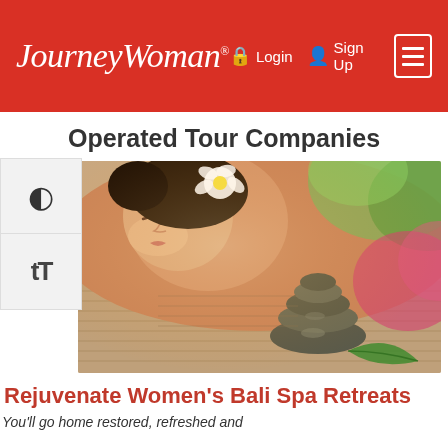JourneyWoman® — Login  Sign Up
Operated Tour Companies
[Figure (photo): Woman lying on a spa table with hot stones stacked nearby and a flower in her hair, relaxing at a Bali spa]
Rejuvenate Women's Bali Spa Retreats
You'll go home restored, refreshed and